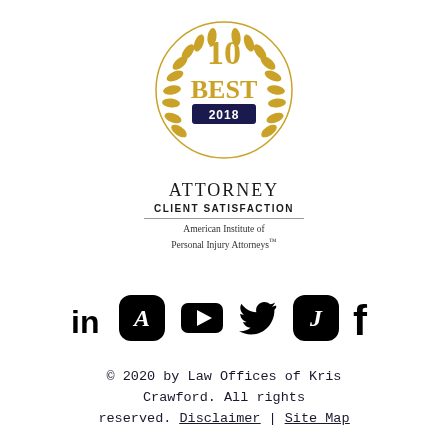[Figure (logo): 10 Best 2018 Attorney Client Satisfaction award badge from the American Institute of Personal Injury Attorneys, gold laurel wreath circle with navy '2018' banner]
[Figure (illustration): Row of six social media icons: LinkedIn, Avvo (rounded square with A), YouTube (play button), Twitter (bird), Justia (rounded square with J), Facebook (f)]
© 2020 by Law Offices of Kris Crawford. All rights reserved. Disclaimer | Site Map